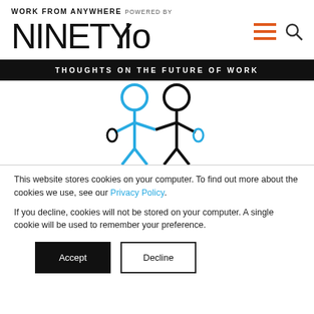WORK FROM ANYWHERE POWERED BY NINETY.io
THOUGHTS ON THE FUTURE OF WORK
[Figure (illustration): Two stick figures side by side, one in blue and one in black, representing people working together.]
This website stores cookies on your computer. To find out more about the cookies we use, see our Privacy Policy.
If you decline, cookies will not be stored on your computer. A single cookie will be used to remember your preference.
Accept | Decline